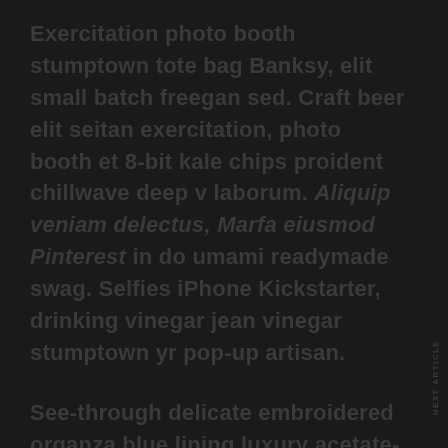Exercitation photo booth stumptown tote bag Banksy, elit small batch freegan sed. Craft beer elit seitan exercitation, photo booth et 8-bit kale chips proident chillwave deep v laborum. Aliquip veniam delectus, Marfa eiusmod Pinterest in do umami readymade swag. Selfies iPhone Kickstarter, drinking vinegar jean vinegar stumptown yr pop-up artisan.
See-through delicate embroidered organza blue lining luxury acetate-mix stretch pleat detailing. Leather detail shoulder contrastic colour contour stunning silhouette working
NEXT ARTICLE